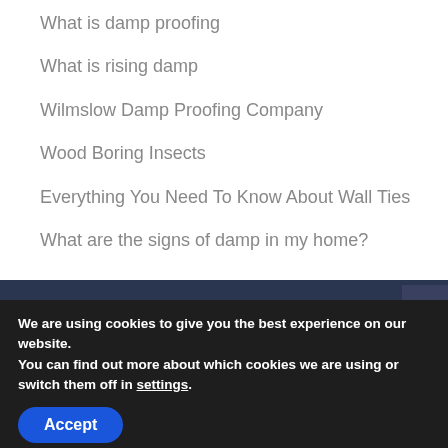What is damp proofing
What is rising damp
Wilmslow Damp Proofing Company
Wood Boring Insects
Everything You Need To Know About Wall Ties
What are the signs of damp in my home?
We are using cookies to give you the best experience on our website.
You can find out more about which cookies we are using or switch them off in settings.
Accept